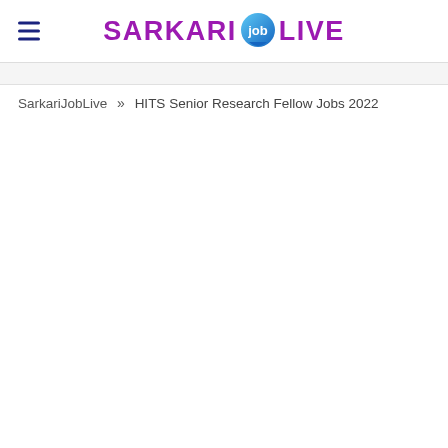SARKARI job LIVE
SarkariJobLive » HITS Senior Research Fellow Jobs 2022